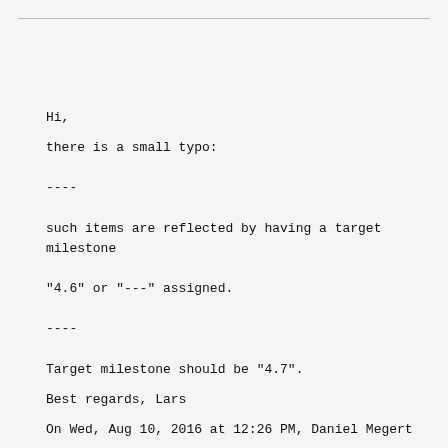Hi,
there is a small typo:
----
such items are reflected by having a target milestone
"4.6" or "---" assigned.
----
Target milestone should be "4.7".
Best regards, Lars
On Wed, Aug 10, 2016 at 12:26 PM, Daniel Megert
<daniel_megert@xxxxxxxxxx> wrote:
> Dear PMC members
>
> In our next PMC call I would like to close the
following three topics: